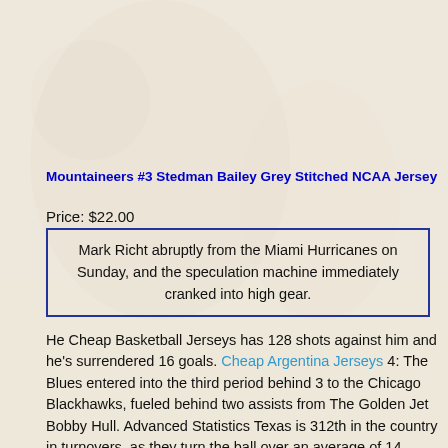[Figure (photo): Background image of a sports/basketball scene, faded/watermarked behind the content]
Mountaineers #3 Stedman Bailey Grey Stitched NCAA Jersey
Price: $22.00
Mark Richt abruptly from the Miami Hurricanes on Sunday, and the speculation machine immediately cranked into high gear.
He Cheap Basketball Jerseys has 128 shots against him and he's surrendered 16 goals. Cheap Argentina Jerseys 4: The Blues entered into the third period behind 3 to the Chicago Blackhawks, fueled behind two assists from The Golden Jet Bobby Hull. Advanced Statistics Texas is 312th in the country in turnovers, as they turn the ball over an average of 14 times per 100 possessions while forcing 18 on defense. No team passed fewer in 2015